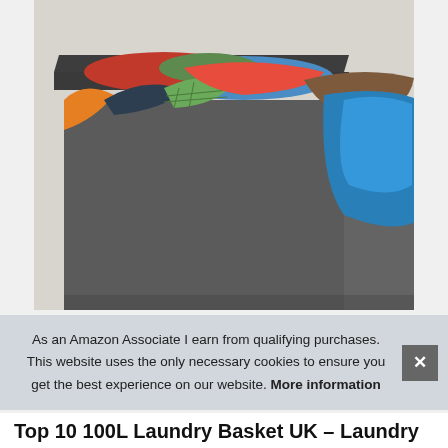[Figure (photo): A large gray fabric laundry basket overflowing with colorful clothes including orange, red, blue, green, plaid, and brown garments. The basket has a dark lid/frame on top and extends toward the viewer.]
As an Amazon Associate I earn from qualifying purchases. This website uses the only necessary cookies to ensure you get the best experience on our website. More information
Top 10 100L Laundry Basket UK – Laundry